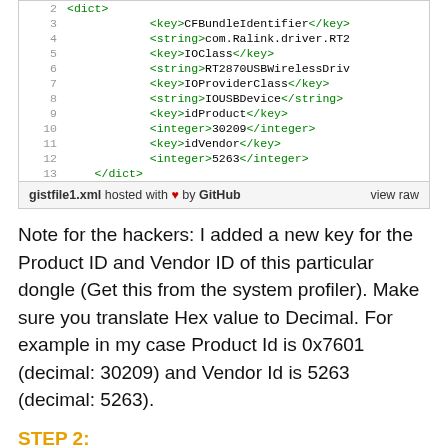[Figure (screenshot): A code snippet showing XML plist content with line numbers 2-13, displaying key-value pairs for CFBundleIdentifier, IOClass, IOProviderClass, idProduct (30209), and idVendor (5263), with a footer bar showing 'gistfile1.xml hosted with heart by GitHub' and 'view raw' link.]
Note for the hackers: I added a new key for the Product ID and Vendor ID of this particular dongle (Get this from the system profiler). Make sure you translate Hex value to Decimal. For example in my case Product Id is 0x7601 (decimal: 30209) and Vendor Id is 5263 (decimal: 5263).
STEP 2: